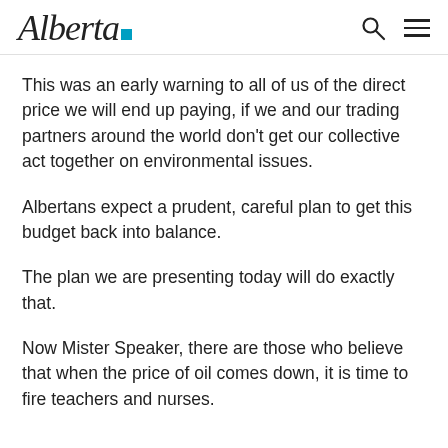Alberta [logo]
This was an early warning to all of us of the direct price we will end up paying, if we and our trading partners around the world don’t get our collective act together on environmental issues.
Albertans expect a prudent, careful plan to get this budget back into balance.
The plan we are presenting today will do exactly that.
Now Mister Speaker, there are those who believe that when the price of oil comes down, it is time to fire teachers and nurses.